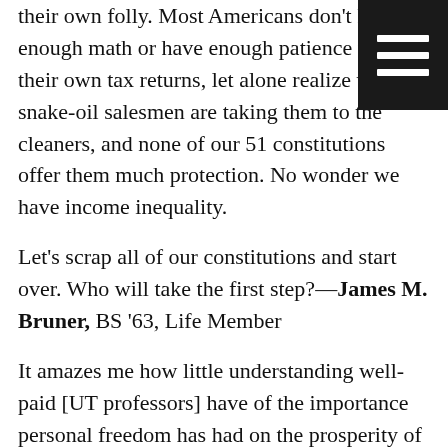their own folly. Most Americans don't know enough math or have enough patience to file their own tax returns, let alone realize when snake-oil salesmen are taking them to the cleaners, and none of our 51 constitutions offer them much protection. No wonder we have income inequality.
Let's scrap all of our constitutions and start over. Who will take the first step?—James M. Bruner, BS '63, Life Member
It amazes me how little understanding well-paid [UT professors] have of the importance personal freedom has had on the prosperity of our nation, and how quickly they would